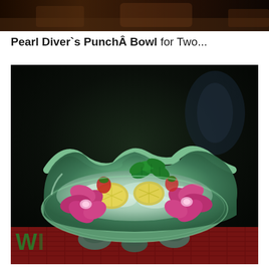[Figure (photo): Cropped top portion of a photo showing a dark background scene, partially visible at top of page]
Pearl Diver`s PunchÂ Bowl for Two...
[Figure (photo): A green ceramic clam shell punch bowl filled with crushed ice, garnished with purple orchid flowers, mint leaves, and lemon/lime slices, sitting on a red bar mat against a dark background]